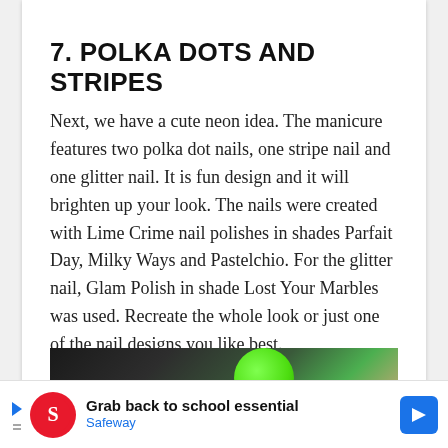7. POLKA DOTS AND STRIPES
Next, we have a cute neon idea. The manicure features two polka dot nails, one stripe nail and one glitter nail. It is fun design and it will brighten up your look. The nails were created with Lime Crime nail polishes in shades Parfait Day, Milky Ways and Pastelchio. For the glitter nail, Glam Polish in shade Lost Your Marbles was used. Recreate the whole look or just one of the nail designs you like best.
[Figure (photo): Partial view of a hand with a bright neon green nail polish on one finger, against a dark background.]
Grab back to school essential
Safeway